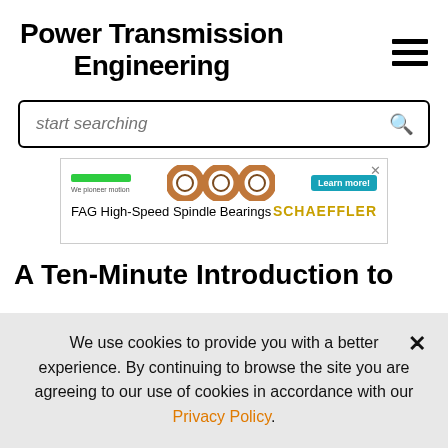Power Transmission Engineering
[Figure (screenshot): Search bar with placeholder text 'start searching' and magnifying glass icon]
[Figure (infographic): Advertisement banner: FAG High-Speed Spindle Bearings by SCHAEFFLER, showing three ring bearings, a green bar, 'Learn more!' button, and X close button]
A Ten-Minute Introduction to
We use cookies to provide you with a better experience. By continuing to browse the site you are agreeing to our use of cookies in accordance with our Privacy Policy.